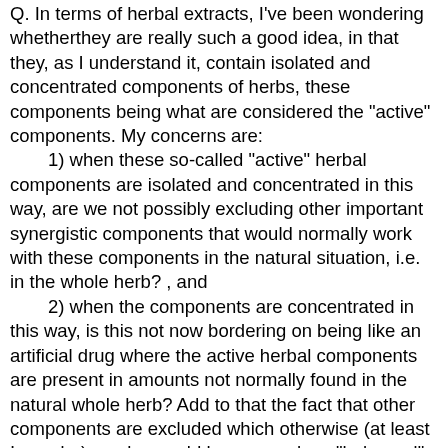Q. In terms of herbal extracts, I've been wondering whetherthey are really such a good idea, in that they, as I understand it, contain isolated and concentrated components of herbs, these components being what are considered the "active" components. My concerns are:
    1) when these so-called "active" herbal components are isolated and concentrated in this way, are we not possibly excluding other important synergistic components that would normally work with these components in the natural situation, i.e. in the whole herb? , and
    2) when the components are concentrated in this way, is this not now bordering on being like an artificial drug where the active herbal components are present in amounts not normally found in the natural whole herb? Add to that the fact that other components are excluded which otherwise (at least I wonder) maybe would have somehow "balanced" these active components. Is this then safe?
    Basically I've been wondering these things, comparing whole herbs to herbal extracts. Hope your highly knowledgeable staff will enlighten me as usual regarding herbal supplements. Thanks much.
    A. This is an excellent question. There is no blanket statement that can be made regarding herbal supplements. Each herb has to be evaluated individually to see whether the whole herb or the extract is preferable. With some herbs, it may be better to take the whole herb, and with others,